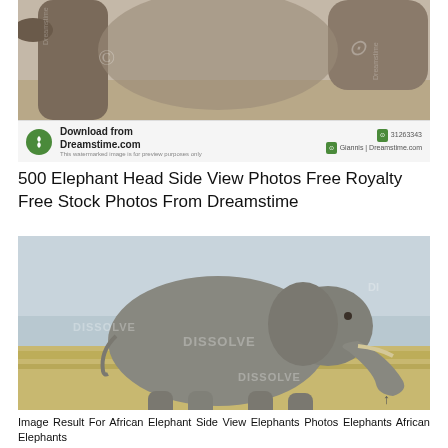[Figure (photo): Close-up stock photo of elephant heads and trunks with Dreamstime watermark overlay, showing partial elephant faces against savanna background. Dreamstime download banner at bottom of image.]
500 Elephant Head Side View Photos Free Royalty Free Stock Photos From Dreamstime
[Figure (photo): African elephant side view walking across dry savanna grassland, full body profile shot with DISSOLVE watermark overlaid. Light sky background, elephant facing right with trunk lowered.]
Image Result For African Elephant Side View Elephants Photos Elephants African Elephants